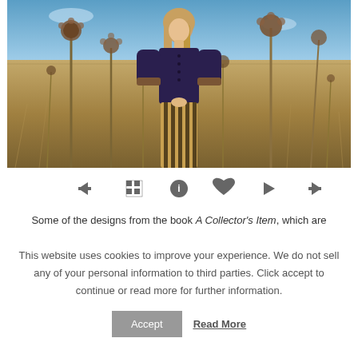[Figure (photo): A young woman with long blonde hair stands in a field wearing a dark navy knitted cardigan with decorative cuffs over a striped skirt. Tall dried thistle or artichoke plants surround her. Blue sky in the background with a fence line visible.]
[Figure (infographic): Navigation bar with icons: left arrow, grid/menu icon, info circle icon, heart icon, play/right triangle icon, right arrow icon]
Some of the designs from the book A Collector's Item, which are
This website uses cookies to improve your experience. We do not sell any of your personal information to third parties. Click accept to continue or read more for further information.